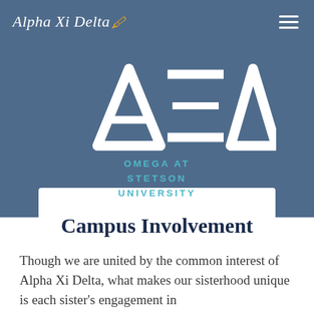Alpha Xi Delta
[Figure (logo): Alpha Xi Delta Greek letters AΞΔ logo in white on blue background]
OMEGA AT STETSON UNIVERSITY
Campus Involvement
Though we are united by the common interest of Alpha Xi Delta, what makes our sisterhood unique is each sister's engagement in